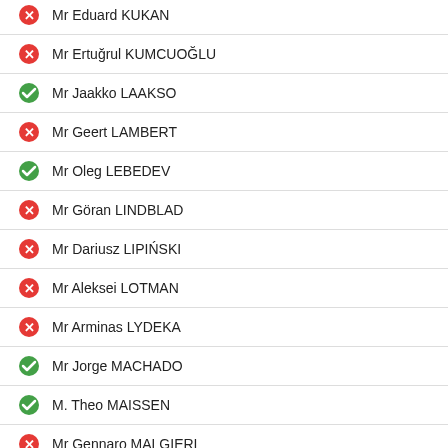Mr Eduard KUKAN
Mr Ertuğrul KUMCUOĞLU
Mr Jaakko LAAKSO
Mr Geert LAMBERT
Mr Oleg LEBEDEV
Mr Göran LINDBLAD
Mr Dariusz LIPIŃSKI
Mr Aleksei LOTMAN
Mr Arminas LYDEKA
Mr Jorge MACHADO
M. Theo MAISSEN
Mr Gennaro MALGIERI
Mr Sergey MARKOV
Mr Yevhen MARMAZOV
M. Dick MARTY
Mr Slavko MATIĆ
Ms Christine McCAFFERTY
M. Miloš MELČÁK